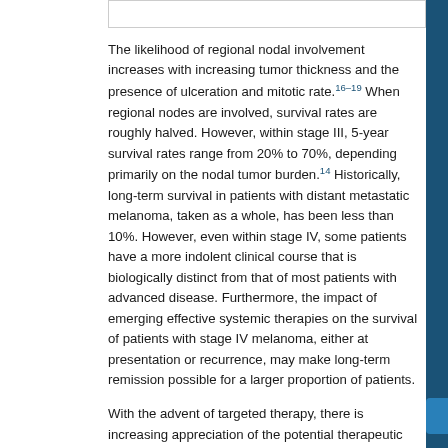The likelihood of regional nodal involvement increases with increasing tumor thickness and the presence of ulceration and mitotic rate.16–19 When regional nodes are involved, survival rates are roughly halved. However, within stage III, 5-year survival rates range from 20% to 70%, depending primarily on the nodal tumor burden.14 Historically, long-term survival in patients with distant metastatic melanoma, taken as a whole, has been less than 10%. However, even within stage IV, some patients have a more indolent clinical course that is biologically distinct from that of most patients with advanced disease. Furthermore, the impact of emerging effective systemic therapies on the survival of patients with stage IV melanoma, either at presentation or recurrence, may make long-term remission possible for a larger proportion of patients.
With the advent of targeted therapy, there is increasing appreciation of the potential therapeutic implications of the variable incidence of specific genetic alterations